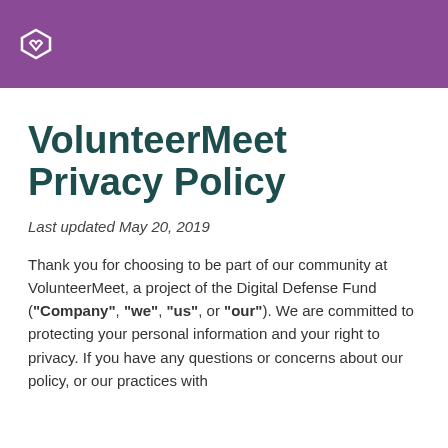VolunteerMeet
VolunteerMeet Privacy Policy
Last updated May 20, 2019
Thank you for choosing to be part of our community at VolunteerMeet, a project of the Digital Defense Fund ("Company", "we", "us", or "our"). We are committed to protecting your personal information and your right to privacy. If you have any questions or concerns about our policy, or our practices with